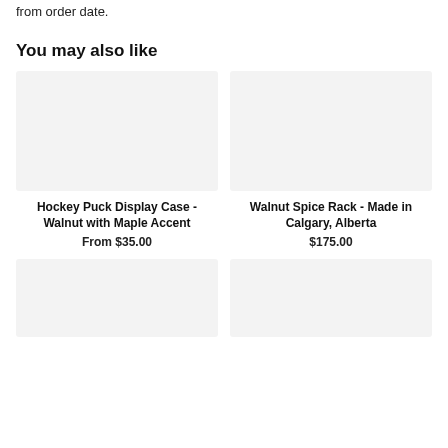from order date.
You may also like
[Figure (photo): Product image placeholder for Hockey Puck Display Case - Walnut with Maple Accent]
Hockey Puck Display Case - Walnut with Maple Accent
From $35.00
[Figure (photo): Product image placeholder for Walnut Spice Rack - Made in Calgary, Alberta]
Walnut Spice Rack - Made in Calgary, Alberta
$175.00
[Figure (photo): Product image placeholder, bottom left]
[Figure (photo): Product image placeholder, bottom right]